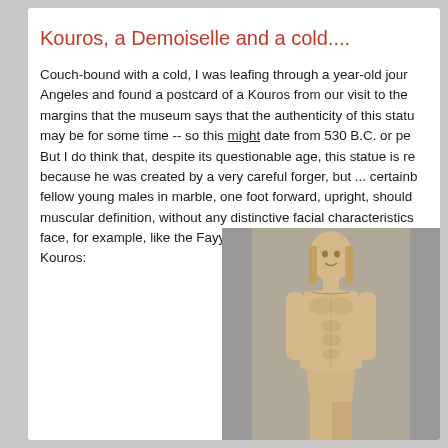Kouros, a Demoiselle and a cold....
Couch-bound with a cold, I was leafing through a year-old journal. Angeles and found a postcard of a Kouros from our visit to the margins that the museum says that the authenticity of this statu may be for some time -- so this might date from 530 B.C. or pe But I do think that, despite its questionable age, this statue is re because he was created by a very careful forger, but ... certainb fellow young males in marble, one foot forward, upright, should muscular definition, without any distinctive facial characteristics face, for example, like the Fayyum portraits--see my entry of 5/ Kouros:
[Figure (photo): Photograph of a Kouros marble statue — an ancient Greek sculpture of a young male nude, standing upright with one foot forward, stylized braided hair, and a slight archaic smile, showing muscular definition of the torso and abdomen.]